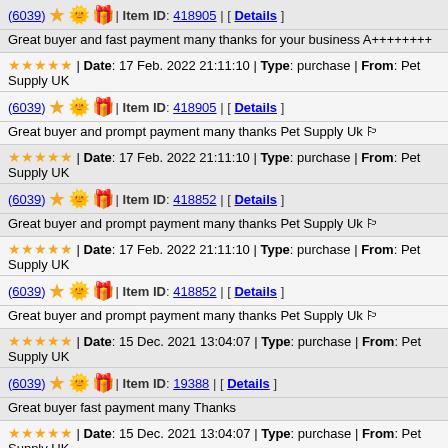(6039) ★☀🎁 | Item ID: 418905 | [ Details ]
Great buyer and fast payment many thanks for your business A++++++++
★★★★★ | Date: 17 Feb. 2022 21:11:10 | Type: purchase | From: Pet Supply UK
(6039) ★☀🎁 | Item ID: 418905 | [ Details ]
Great buyer and prompt payment many thanks Pet Supply Uk 🏳
★★★★★ | Date: 17 Feb. 2022 21:11:10 | Type: purchase | From: Pet Supply UK
(6039) ★☀🎁 | Item ID: 418852 | [ Details ]
Great buyer and prompt payment many thanks Pet Supply Uk 🏳
★★★★★ | Date: 17 Feb. 2022 21:11:10 | Type: purchase | From: Pet Supply UK
(6039) ★☀🎁 | Item ID: 418852 | [ Details ]
Great buyer and prompt payment many thanks Pet Supply Uk 🏳
★★★★★ | Date: 15 Dec. 2021 13:04:07 | Type: purchase | From: Pet Supply UK
(6039) ★☀🎁 | Item ID: 19388 | [ Details ]
Great buyer fast payment many Thanks
★★★★★ | Date: 15 Dec. 2021 13:04:07 | Type: purchase | From: Pet Supply UK
(6039) ★☀🎁 | Item ID: 19426 | [ Details ]
Great buyer fast payment many Thanks